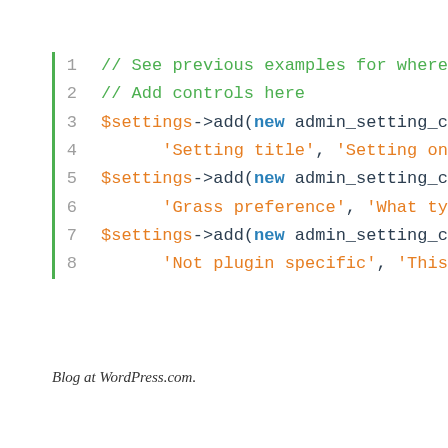[Figure (screenshot): Code snippet showing PHP WordPress admin settings code with syntax highlighting. Lines 1-8 displayed with green line indicator bar on left. Line numbers in gray on left margin. Comments in green, variables in orange, keywords in blue, strings in orange, method calls in dark.]
Blog at WordPress.com.